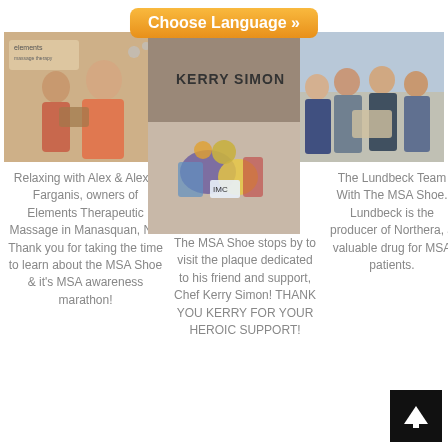[Figure (photo): Orange 'Choose Language »' button at top center]
[Figure (photo): Photo of two people at Elements Therapeutic Massage, Manasquan NJ]
[Figure (photo): Photo of Kerry Simon name plaque and MSA Shoe with medals and accessories]
[Figure (photo): Photo of the Lundbeck Team with the MSA Shoe]
Relaxing with Alex & Alexis Farganis, owners of Elements Therapeutic Massage in Manasquan, NJ. Thank you for taking the time to learn about the MSA Shoe & it's MSA awareness marathon!
The MSA Shoe stops by to visit the plaque dedicated to his friend and support, Chef Kerry Simon! THANK YOU KERRY FOR YOUR HEROIC SUPPORT!
The Lundbeck Team With The MSA Shoe. Lundbeck is the producer of Northera, a valuable drug for MSA patients.